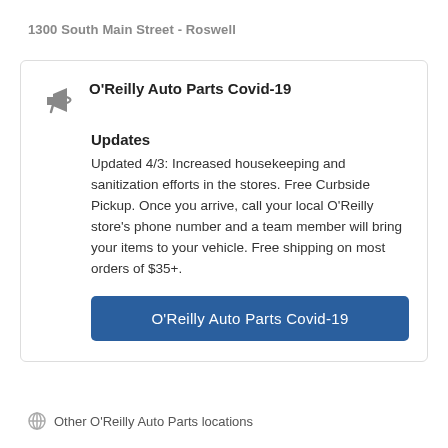1300 South Main Street - Roswell
O'Reilly Auto Parts Covid-19 Updates
Updated 4/3: Increased housekeeping and sanitization efforts in the stores. Free Curbside Pickup. Once you arrive, call your local O'Reilly store's phone number and a team member will bring your items to your vehicle. Free shipping on most orders of $35+.
O'Reilly Auto Parts Covid-19
Other O'Reilly Auto Parts locations